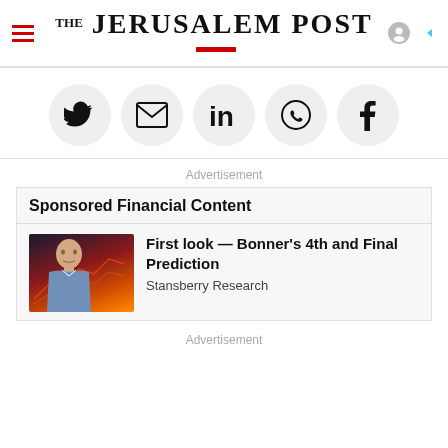THE JERUSALEM POST
[Figure (other): Social sharing buttons: Twitter, Email, LinkedIn, WhatsApp, Facebook]
Advertisement
Sponsored Financial Content
[Figure (photo): Thumbnail photo of elderly man with financial chart background]
First look — Bonner's 4th and Final Prediction
Stansberry Research
Advertisement